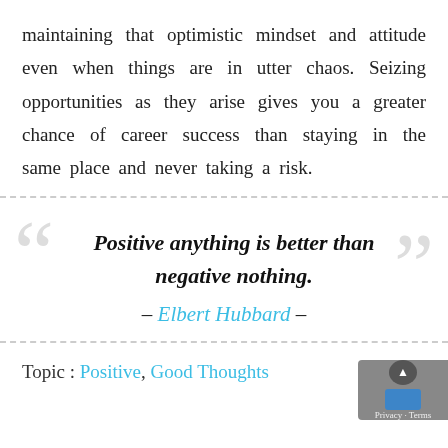maintaining that optimistic mindset and attitude even when things are in utter chaos. Seizing opportunities as they arise gives you a greater chance of career success than staying in the same place and never taking a risk.
Positive anything is better than negative nothing.
– Elbert Hubbard –
Topic : Positive, Good Thoughts